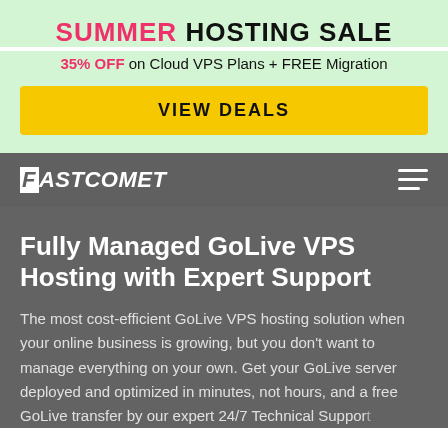SUMMER HOSTING SALE
35% OFF on Cloud VPS Plans + FREE Migration
VIEW DEALS
[Figure (logo): FastComet logo in white italic text on dark grey navbar background, with hamburger menu icon on the right]
Fully Managed GoLive VPS Hosting with Expert Support
The most cost-efficient GoLive VPS hosting solution when your online business is growing, but you don't want to manage everything on your own. Get your GoLive server deployed and optimized in minutes, not hours, and a free GoLive transfer by our expert 24/7 Technical Support